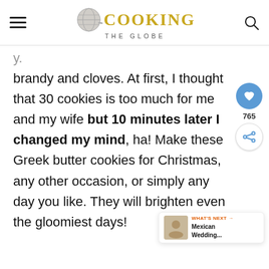COOKING THE GLOBE
brandy and cloves. At first, I thought that 30 cookies is too much for me and my wife but 10 minutes later I changed my mind, ha! Make these Greek butter cookies for Christmas, any other occasion, or simply any day you like. They will brighten even the gloomiest days!